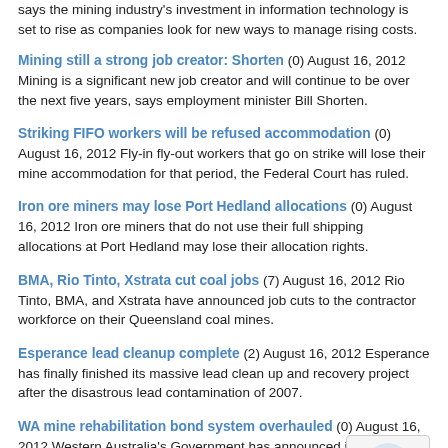says the mining industry's investment in information technology is set to rise as companies look for new ways to manage rising costs.
Mining still a strong job creator: Shorten (0) August 16, 2012 Mining is a significant new job creator and will continue to be over the next five years, says employment minister Bill Shorten.
Striking FIFO workers will be refused accommodation (0) August 16, 2012 Fly-in fly-out workers that go on strike will lose their mine accommodation for that period, the Federal Court has ruled.
Iron ore miners may lose Port Hedland allocations (0) August 16, 2012 Iron ore miners that do not use their full shipping allocations at Port Hedland may lose their allocation rights.
BMA, Rio Tinto, Xstrata cut coal jobs (7) August 16, 2012 Rio Tinto, BMA, and Xstrata have announced job cuts to the contractor workforce on their Queensland coal mines.
Esperance lead cleanup complete (2) August 16, 2012 Esperance has finally finished its massive lead clean up and recovery project after the disastrous lead contamination of 2007.
WA mine rehabilitation bond system overhauled (0) August 16, 2012 Western Australia's Government has announced it will create a new fund to replace the current environmental bond system for mine rehabilitation.
[Figure (other): Orange rounded button with plus sign and text JOIN OUR NEWSLETTER]
ugust 15, 2012 Deu... on BHP Billiton to... b... evelopment at Port H...
Mining heavy haulage out of Mackay [images and video] (0) August